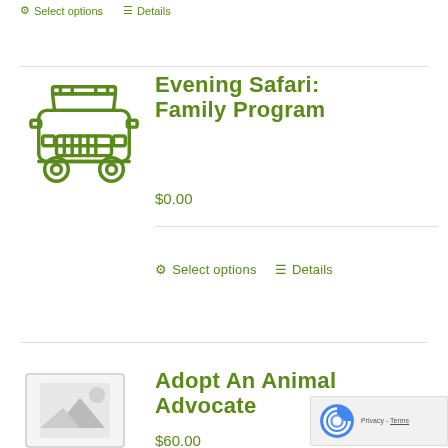Select options   Details
[Figure (illustration): Green outlined icon of a jeep/safari vehicle viewed from front]
Evening Safari: Family Program
$0.00
Select options   Details
[Figure (photo): Placeholder image thumbnail (mountain/landscape icon)]
Adopt An Animal Advocate
$60.00